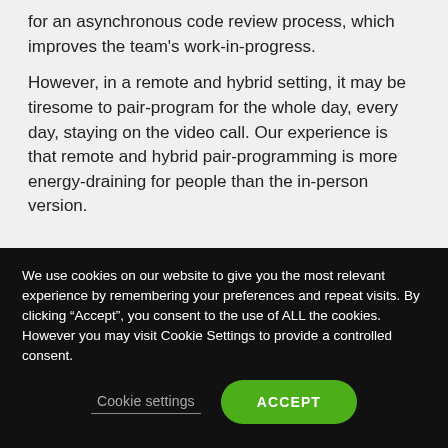for an asynchronous code review process, which improves the team's work-in-progress.
However, in a remote and hybrid setting, it may be tiresome to pair-program for the whole day, every day, staying on the video call. Our experience is that remote and hybrid pair-programming is more energy-draining for people than the in-person version.
We use cookies on our website to give you the most relevant experience by remembering your preferences and repeat visits. By clicking “Accept”, you consent to the use of ALL the cookies. However you may visit Cookie Settings to provide a controlled consent.